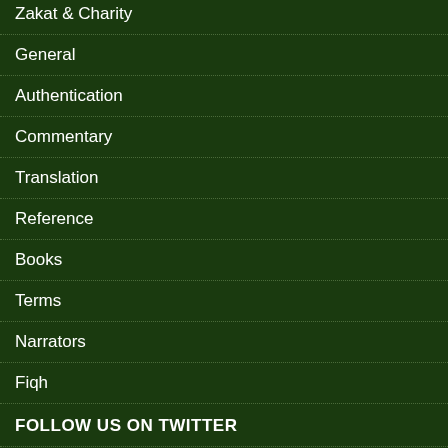Zakat & Charity
General
Authentication
Commentary
Translation
Reference
Books
Terms
Narrators
Fiqh
FOLLOW US ON TWITTER
Follow @hadithanswers
LATEST Q&A